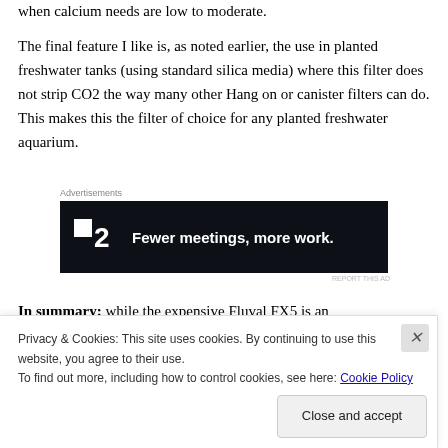when calcium needs are low to moderate.
The final feature I like is, as noted earlier, the use in planted freshwater tanks (using standard silica media) where this filter does not strip CO2 the way many other Hang on or canister filters can do. This makes this the filter of choice for any planted freshwater aquarium.
[Figure (screenshot): Advertisement banner for Fewer meetings, more work (product 2) on dark background]
In summary: while the expensive Fluval FX5 is an
Privacy & Cookies: This site uses cookies. By continuing to use this website, you agree to their use.
To find out more, including how to control cookies, see here: Cookie Policy